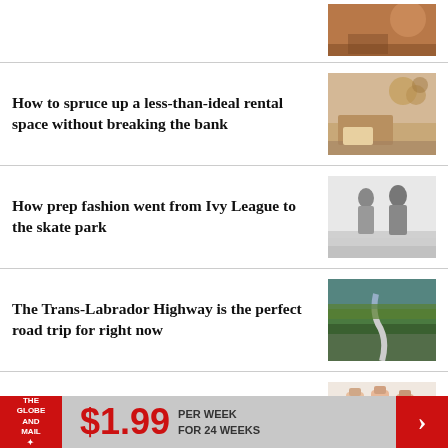[Figure (photo): Partial article thumbnail at top right, warm tones, decorative scene]
How to spruce up a less-than-ideal rental space without breaking the bank
[Figure (photo): Interior room photo with wicker furniture and decorative wall items]
How prep fashion went from Ivy League to the skate park
[Figure (photo): Black and white photo of people standing outdoors, vintage fashion]
The Trans-Labrador Highway is the perfect road trip for right now
[Figure (photo): Aerial road photo through landscape]
Mateus Rosé, the fizzy and fruity wine in the funny bottle, keeps rocking
[Figure (photo): Three decorative wine bottles with floral labels]
[Figure (infographic): The Globe and Mail ad banner: $1.99 PER WEEK FOR 24 WEEKS]